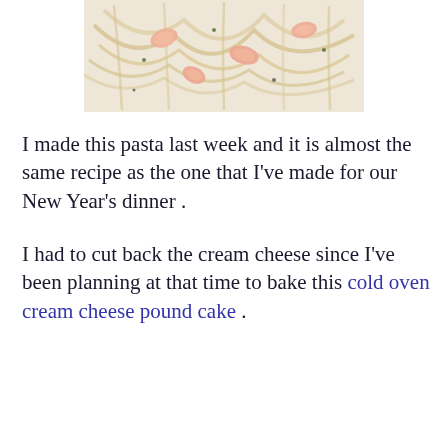[Figure (photo): A plate of pasta with shrimp in a creamy sauce, viewed from above]
I made this pasta last week and it is almost the same recipe as the one that I've made for our New Year's dinner .
I had to cut back the cream cheese since I've been planning at that time to bake this cold oven cream cheese pound cake .